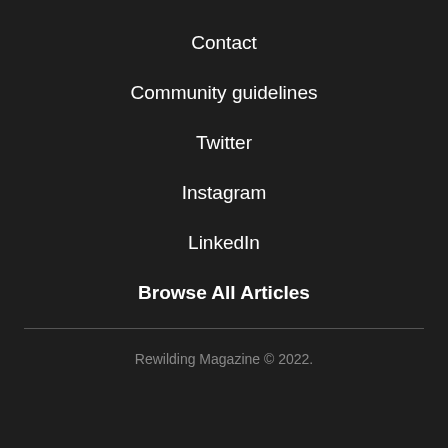Contact
Community guidelines
Twitter
Instagram
LinkedIn
Browse All Articles
Rewilding Magazine © 2022.